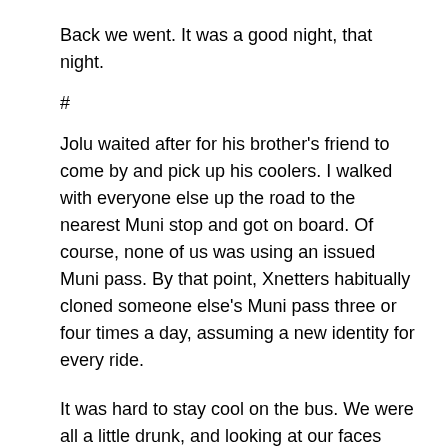Back we went. It was a good night, that night.
#
Jolu waited after for his brother's friend to come by and pick up his coolers. I walked with everyone else up the road to the nearest Muni stop and got on board. Of course, none of us was using an issued Muni pass. By that point, Xnetters habitually cloned someone else's Muni pass three or four times a day, assuming a new identity for every ride.
It was hard to stay cool on the bus. We were all a little drunk, and looking at our faces under the bright bus lights was kind of hilarious. We got pretty loud and the driver used his intercom to tell us to keep it down twice, then told us to shut up right now or he'd call the cops.
That set us to giggling again and we disembarked in a mass